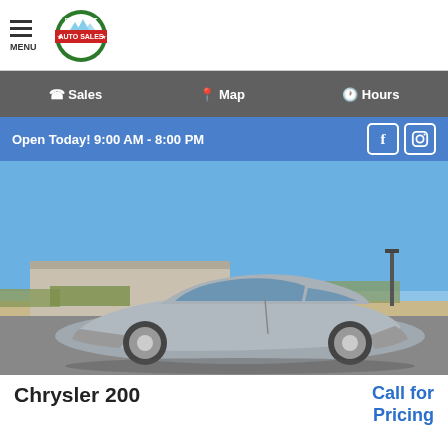[Figure (logo): Excellent Choice Auto Sales circular logo with green border, mountains, red stars, and MENU hamburger icon to the left]
Sales | Map | Hours
Open Today! 9:00 AM - 8:00 PM
[Figure (photo): Silver Chrysler 200 sedan parked in a lot with blue sky background and industrial buildings in the distance]
Chrysler 200
Call for Pricing